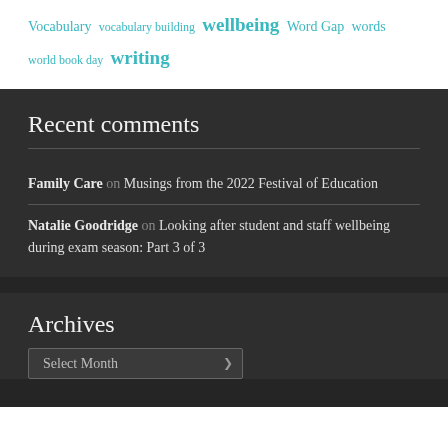Vocabulary vocabulary building wellbeing Word Gap words world book day writing
Recent comments
Family Care on Musings from the 2022 Festival of Education
Natalie Goodridge on Looking after student and staff wellbeing during exam season: Part 3 of 3
Archives
Select Month